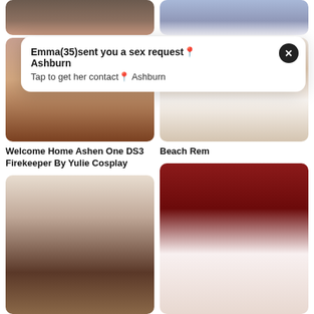[Figure (photo): Top left partial photo, dark tones]
[Figure (photo): Top right partial photo, anime character with blue/white hair]
[Figure (photo): Middle left photo, partially obscured adult content]
Emma(35)sent you a sex request📍 Ashburn
Tap to get her contact📍 Ashburn
[Figure (photo): Middle right photo, person in bikini]
Welcome Home Ashen One DS3 Firekeeper By Yulie Cosplay
Beach Rem
[Figure (photo): Lower left photo, dark-haired woman holding silver mask]
[Figure (photo): Lower right photo, white-haired person on red background]